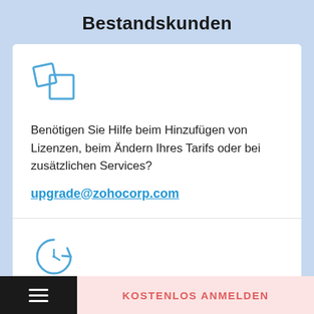Bestandskunden
[Figure (illustration): Blue outline icon of overlapping/rotating squares or grid, representing app/license management]
Benötigen Sie Hilfe beim Hinzufügen von Lizenzen, beim Ändern Ihres Tarifs oder bei zusätzlichen Services?
upgrade@zohocorp.com
[Figure (illustration): Blue outline icon of a clock with circular refresh/renewal arrows]
Benötigen Sie Hilfe bei der Verlängerung Ihres
KOSTENLOS ANMELDEN